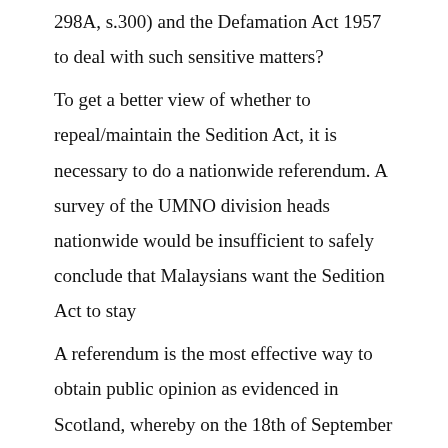298A, s.300) and the Defamation Act 1957 to deal with such sensitive matters?
To get a better view of whether to repeal/maintain the Sedition Act, it is necessary to do a nationwide referendum. A survey of the UMNO division heads nationwide would be insufficient to safely conclude that Malaysians want the Sedition Act to stay
A referendum is the most effective way to obtain public opinion as evidenced in Scotland, whereby on the 18th of September this year, Scottish citizens will be asked whether they want Scotland to go independent, thus leaving the United Kingdom. It is only logical that the rakyat are consulted about such a